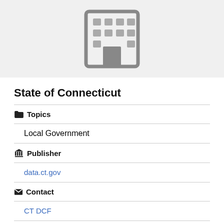[Figure (illustration): Gray building/organization icon on light gray background]
State of Connecticut
Topics
Local Government
Publisher
data.ct.gov
Contact
CT DCF